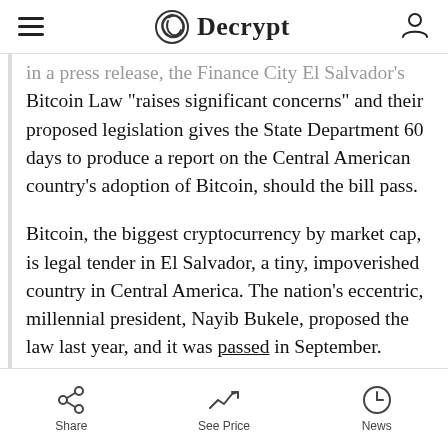Decrypt
in a press release, the Finance City El Salvador's Bitcoin Law "raises significant concerns" and their proposed legislation gives the State Department 60 days to produce a report on the Central American country's adoption of Bitcoin, should the bill pass.
Bitcoin, the biggest cryptocurrency by market cap, is legal tender in El Salvador, a tiny, impoverished country in Central America. The nation's eccentric, millennial president, Nayib Bukele, proposed the law last year, and it was passed in September.
Share  See Price  News